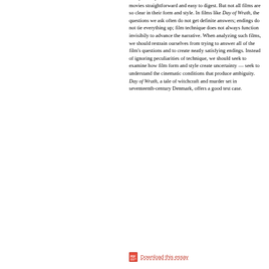Many films pose few difficulties for viewers who like their movies straightforward and easy to digest. But not all films are so clear in their form and style. In films like Day of Wrath, the questions we ask often do not get definite answers; endings do not tie everything up; film technique does not always function invisibily to advance the narrative. When analyzing such films, we should restrain ourselves from trying to answer all of the film's questions and to create neatly satisfying endings. Instead of ignoring peculiarities of technique, we should seek to examine how film form and style create uncertainty — seek to understand the cinematic conditions that produce ambiguity. Day of Wrath, a tale of witchcraft and murder set in seventeenth-century Denmark, offers a good test case.
Download this essay